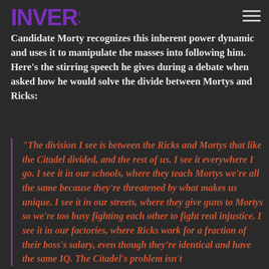INVERSE
Candidate Morty recognizes this inherent power dynamic and uses it to manipulate the masses into following him. Here's the stirring speech he gives during a debate when asked how he would solve the divide between Mortys and Ricks:
“The division I see is between the Ricks and Mortys that like the Citadel divided, and the rest of us. I see it everywhere I go. I see it in our schools, where they teach Mortys we’re all the same because they’re threatened by what makes us unique. I see it in our streets, where they give guns to Mortys so we’re too busy fighting each other to fight real injustice. I see it in our factories, where Ricks work for a fraction of their boss’s salary, even though they’re identical and have the same IQ. The Citadel’s problem isn’t